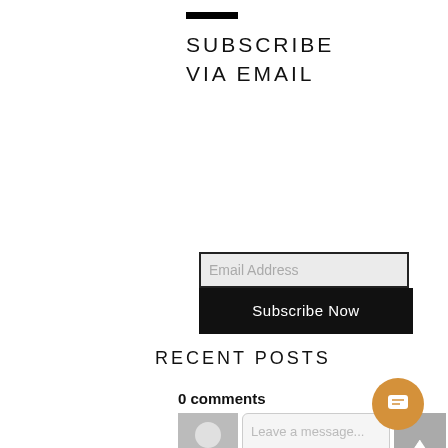SUBSCRIBE VIA EMAIL
[Figure (screenshot): Email subscription input field with placeholder text 'Email Address' and a black 'Subscribe Now' button below it]
RECENT POSTS
0 comments
[Figure (screenshot): Comment section with avatar placeholder, text input box with 'Leave a message...' placeholder, and an up-arrow button]
[Figure (illustration): Orange circular chat/comment button in the bottom right corner]